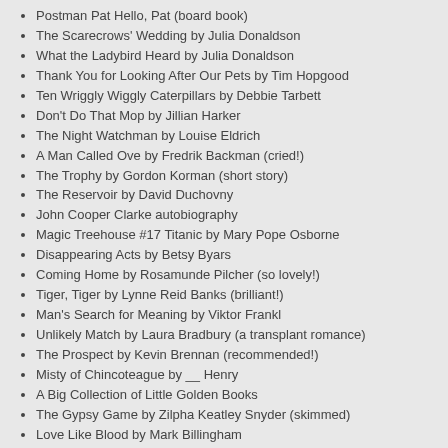Postman Pat Hello, Pat (board book)
The Scarecrows' Wedding by Julia Donaldson
What the Ladybird Heard by Julia Donaldson
Thank You for Looking After Our Pets by Tim Hopgood
Ten Wriggly Wiggly Caterpillars by Debbie Tarbett
Don't Do That Mop by Jillian Harker
The Night Watchman by Louise Eldrich
A Man Called Ove by Fredrik Backman (cried!)
The Trophy by Gordon Korman (short story)
The Reservoir by David Duchovny
John Cooper Clarke autobiography
Magic Treehouse #17 Titanic by Mary Pope Osborne
Disappearing Acts by Betsy Byars
Coming Home by Rosamunde Pilcher (so lovely!)
Tiger, Tiger by Lynne Reid Banks (brilliant!)
Man's Search for Meaning by Viktor Frankl
Unlikely Match by Laura Bradbury (a transplant romance)
The Prospect by Kevin Brennan (recommended!)
Misty of Chincoteague by __ Henry
A Big Collection of Little Golden Books
The Gypsy Game by Zilpha Keatley Snyder (skimmed)
Love Like Blood by Mark Billingham
Le Leman: Un lac a decouvrir (skimmed)
Argyll's Secret Coast by Kate Davies Designs
Wrapped Up With a Ranger by Kait Nolan (ARC)
A Lost Tale, A Found Influence: Earendel and Tinúviel by Verlyn Flieger (essay in Mythlore)
St Francis' Canticle of the Creatures by John Watts (reread)
The Critic by Peter May
A Psalm for the Wild-Built (Monk and Robot #1) by Becky Chambers
Unlocked: An Oral History of Haden's Syndrome (Lock In #0) by John Scalzi
An Unnatural Life by Erin K. Wagner
Blacklight Blue by Peter May